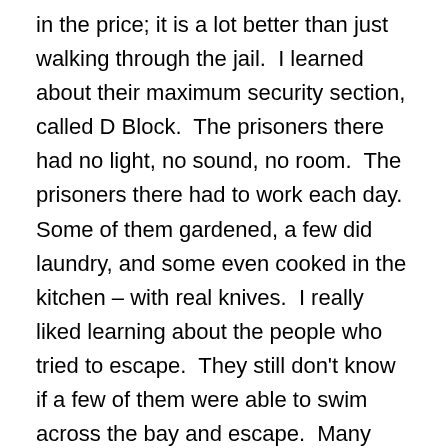in the price; it is a lot better than just walking through the jail. I learned about their maximum security section, called D Block. The prisoners there had no light, no sound, no room. The prisoners there had to work each day. Some of them gardened, a few did laundry, and some even cooked in the kitchen – with real knives. I really liked learning about the people who tried to escape. They still don't know if a few of them were able to swim across the bay and escape. Many people do not think anyone could have survived that. When you are done with the tour then there are some other places you can go around the island. If I were you I would just get back on the boat and head back to the dock. I thought the prison was really the main thing that was interesting to see. The rest of the island was OK to see. The next time you're in San Francisco you definitely need to go to Alcatraz. I think the